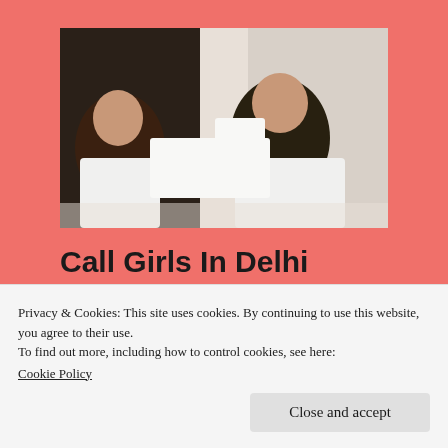[Figure (photo): Two women in white lingerie posed on a white bed]
Call Girls In Delhi Female Escort Service In Delhi Call 9953189442
Privacy & Cookies: This site uses cookies. By continuing to use this website, you agree to their use.
To find out more, including how to control cookies, see here:
Cookie Policy
Close and accept